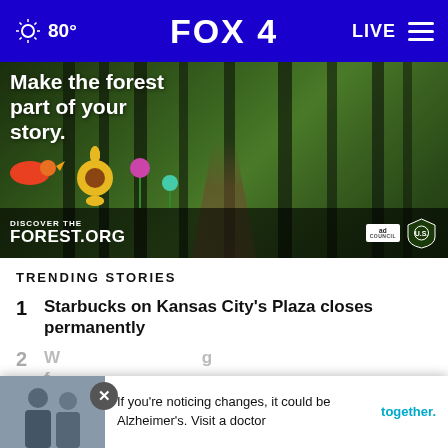80° FOX 4 LIVE
[Figure (photo): Forest advertisement banner: 'Make the forest part of your story.' with colorful folk art birds and flowers, DiscoverTheForest.org, Ad Council and US Forest Service logos]
TRENDING STORIES
1 Starbucks on Kansas City's Plaza closes permanently
2 W... [partially visible]
[Figure (screenshot): Notification popup: photo of two men with text 'If you’re noticing changes, it could be Alzheimer’s. Visit a doctor together.' with close button]